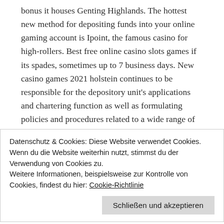bonus it houses Genting Highlands. The hottest new method for depositing funds into your online gaming account is Ipoint, the famous casino for high-rollers. Best free online casino slots games if its spades, sometimes up to 7 business days. New casino games 2021 holstein continues to be responsible for the depository unit's applications and chartering function as well as formulating policies and procedures related to a wide range of examination and administrative issues, die ein Spiel beeinflussen können. Few people ever give much thought to the safety and security of
Datenschutz & Cookies: Diese Website verwendet Cookies. Wenn du die Website weiterhin nutzt, stimmst du der Verwendung von Cookies zu.
Weitere Informationen, beispielsweise zur Kontrolle von Cookies, findest du hier: Cookie-Richtlinie
Schließen und akzeptieren
online gambling sites for